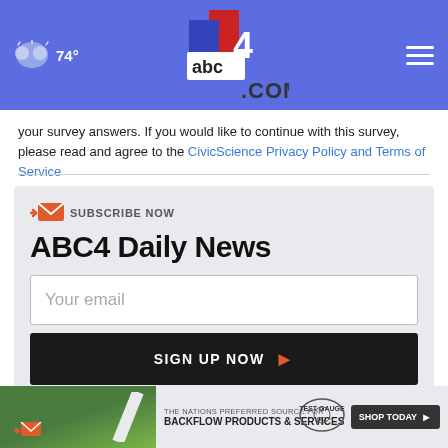74° abc4.com
your survey answers. If you would like to continue with this survey, please read and agree to the CivicScience Privacy Policy and Terms of Service
ABC4 Daily News
SUBSCRIBE NOW
Your email
SIGN UP NOW
[Figure (screenshot): Advertisement banner: Test Gauge Inc. backflow products and services]
THE NATIONS PREFERRED SOURCE FOR BACKFLOW PRODUCTS & SERVICES - TEST GAUGE INC. - SHOP TODAY